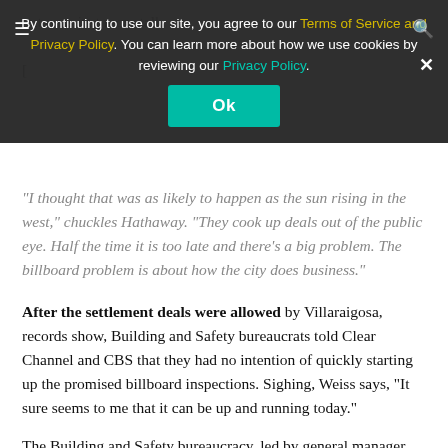out, was just more talk.
[
"I thought that was as likely to happen as the sun rising in the west," chuckles Hathaway. "They cook up deals out of the public eye. Half the time it is too late and there’s a big problem. The billboard problem is about how the city does business."
After the settlement deals were allowed by Villaraigosa, records show, Building and Safety bureaucrats told Clear Channel and CBS that they had no intention of quickly starting up the promised billboard inspections. Sighing, Weiss says, “It sure seems to me that it can be up and running today.”
The Building and Safety bureaucracy, led by general manager Adelman, instead appears to be digging in its heels against the promised crackdown. In a weird two-page report sent to Weiss in December and again in February, Adelman claimed that “due to various litigation actions” the inspections and fees never got off